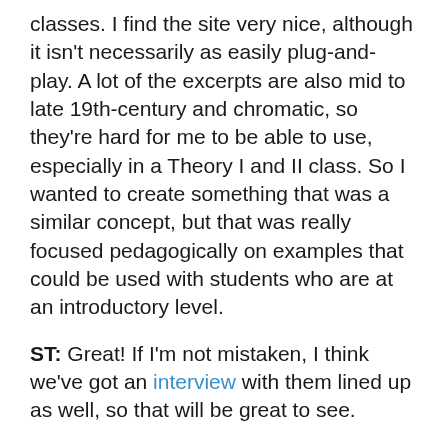classes. I find the site very nice, although it isn't necessarily as easily plug-and-play. A lot of the excerpts are also mid to late 19th-century and chromatic, so they're hard for me to be able to use, especially in a Theory I and II class. So I wanted to create something that was a similar concept, but that was really focused pedagogically on examples that could be used with students who are at an introductory level.
ST: Great! If I'm not mistaken, I think we've got an interview with them lined up as well, so that will be great to see.
Are there ways for people reading this to get involved? Do you have a website, Facebook, etc.?